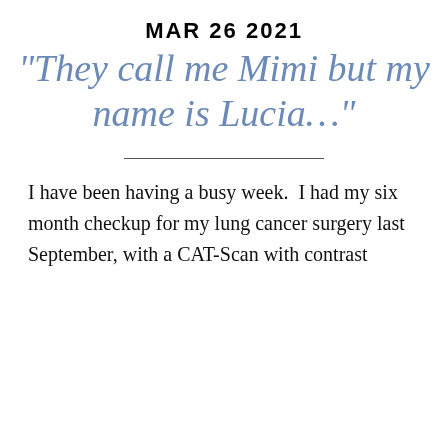MAR 26 2021
“They call me Mimi but my name is Lucia…”
I have been having a busy week.  I had my six month checkup for my lung cancer surgery last September, with a CAT-Scan with contrast